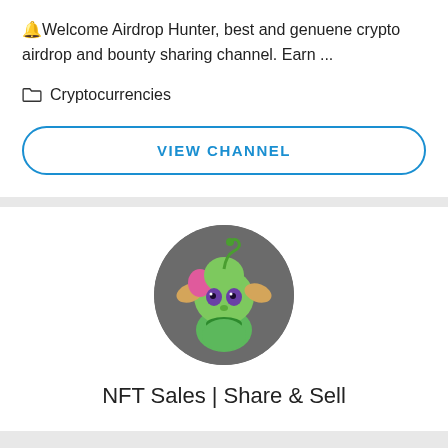🔔Welcome Airdrop Hunter, best and genuene crypto airdrop and bounty sharing channel. Earn ...
Cryptocurrencies
VIEW CHANNEL
[Figure (illustration): Circular avatar image of a cartoon green goblin-like creature with pink and orange details on a dark grey background]
NFT Sales | Share & Sell